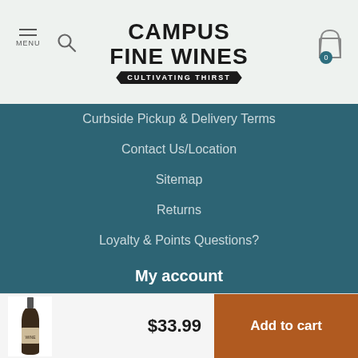CAMPUS FINE WINES — CULTIVATING THIRST
Curbside Pickup & Delivery Terms
Contact Us/Location
Sitemap
Returns
Loyalty & Points Questions?
My account
Account information
My orders
My wishlist
$33.99  Add to cart